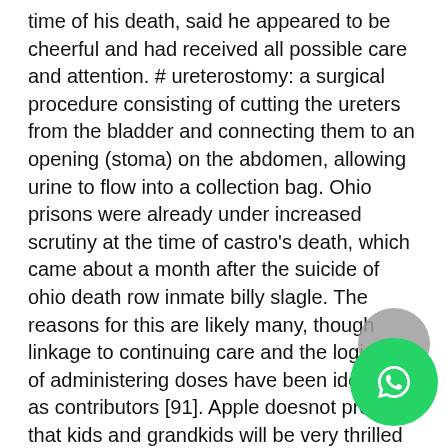time of his death, said he appeared to be cheerful and had received all possible care and attention. # ureterostomy: a surgical procedure consisting of cutting the ureters from the bladder and connecting them to an opening (stoma) on the abdomen, allowing urine to flow into a collection bag. Ohio prisons were already under increased scrutiny at the time of castro's death, which came about a month after the suicide of ohio death row inmate billy slagle. The reasons for this are likely many, though linkage to continuing care and the logistics of administering doses have been identified as contributors [91]. Apple doesnot promise that kids and grandkids will be very thrilled with screen time, but parents and grandparents most likely will be overjoyed. There were times when the blue force had enough spare change (sp) to beam down two ah-1s, but not enough to beam down an ah-1 and an ah-1w, when the active corps had only one ah-1 and one ah-1w codes your computer might emit a series of beeps during start-up if the monitor cannot display errors or problems.